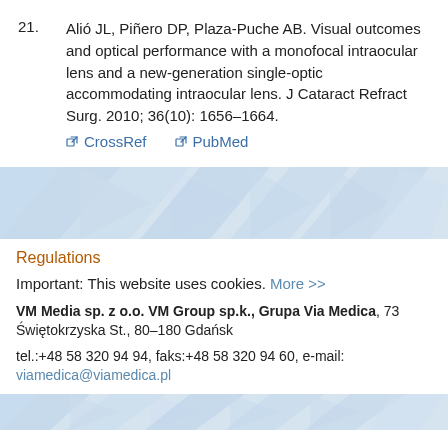21. Alió JL, Piñero DP, Plaza-Puche AB. Visual outcomes and optical performance with a monofocal intraocular lens and a new-generation single-optic accommodating intraocular lens. J Cataract Refract Surg. 2010; 36(10): 1656–1664. [CrossRef] [PubMed]
[Figure (illustration): Decorative banner with light blue triangle/arrow pattern]
Regulations
Important: This website uses cookies. More >>
VM Media sp. z o.o. VM Group sp.k., Grupa Via Medica, 73 Świętokrzyska St., 80–180 Gdańsk
tel.:+48 58 320 94 94, faks:+48 58 320 94 60, e-mail: viamedica@viamedica.pl
[Figure (illustration): Decorative bottom banner with light blue triangle/arrow pattern]